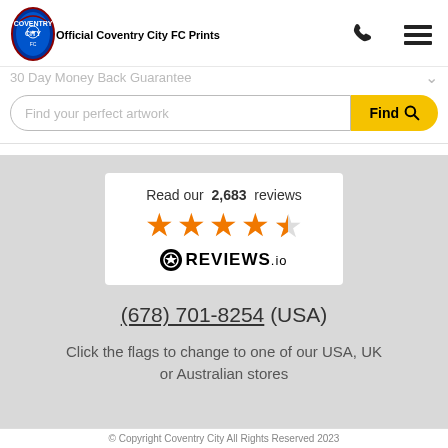[Figure (logo): Coventry City FC crest/badge logo]
Official Coventry City FC Prints
[Figure (other): Phone icon and hamburger menu icon in header]
30 Day Money Back Guarantee
Find your perfect artwork
Find
[Figure (other): Reviews.io widget showing 'Read our 2,683 reviews' with 4.5 orange stars and REVIEWS.io logo]
(678) 701-8254 (USA)
Click the flags to change to one of our USA, UK or Australian stores
© Copyright Coventry City All Rights Reserved 2023